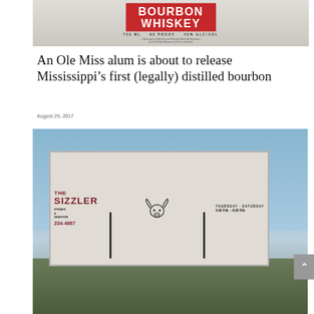[Figure (photo): Close-up photo of a bourbon whiskey bottle label showing 'BOURBON WHISKEY', '750 ML  90 PROOF  45% ALC/VOL', and small descriptive text below]
An Ole Miss alum is about to release Mississippi’s first (legally) distilled bourbon
August 29, 2017
[Figure (photo): Outdoor photo of a roadside billboard sign for 'THE SIZZLER' restaurant. Sign reads: THE SIZZLER, STEAKS & SEAFOOD, THURSDAY - SATURDAY, 5:00 P.M. - 9:00 P.M., 234-4667. Billboard features a longhorn cattle logo.]